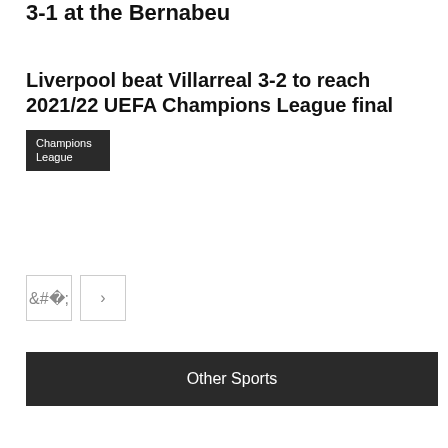3-1 at the Bernabeu
Liverpool beat Villarreal 3-2 to reach 2021/22 UEFA Champions League final
Champions League
< >
Other Sports